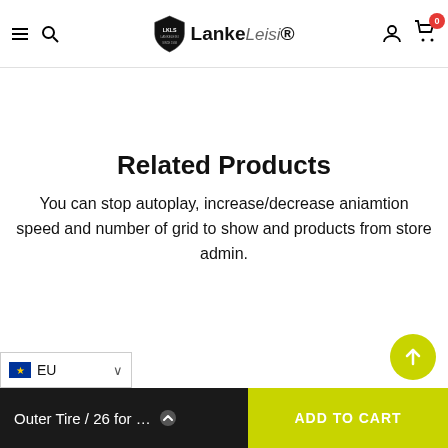LankeLeisi — navigation header with hamburger, search, logo, user icon, cart (0)
Related Products
You can stop autoplay, increase/decrease aniamtion speed and number of grid to show and products from store admin.
EU | Outer Tire / 26 for ... | ADD TO CART